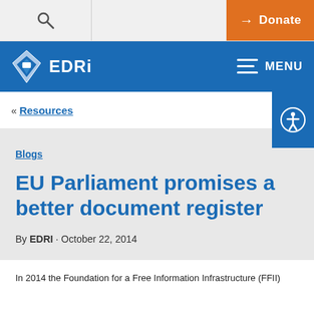EDRi — Donate
EDRi MENU
« Resources
Blogs
EU Parliament promises a better document register
By EDRI · October 22, 2014
In 2014 the Foundation for a Free Information Infrastructure (FFII)